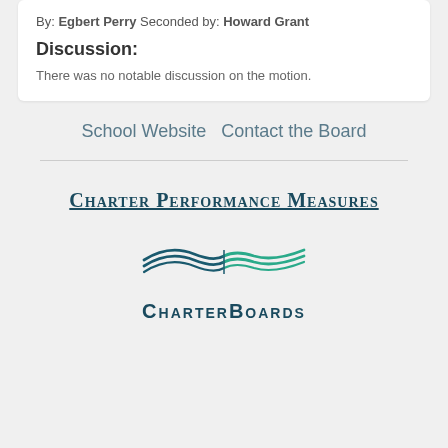By: Egbert Perry Seconded by: Howard Grant
Discussion:
There was no notable discussion on the motion.
School Website  Contact the Board
[Figure (logo): Charter Performance Measures logo with CharterBoards branding and open book graphic in teal and dark teal colors]